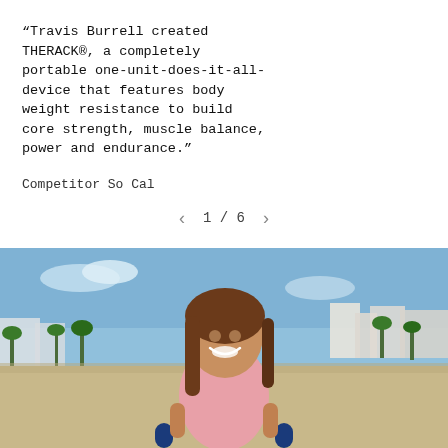“Travis Burrell created THERACK®, a completely portable one-unit-does-it-all-device that features body weight resistance to build core strength, muscle balance, power and endurance.”
Competitor So Cal
1 / 6
[Figure (photo): A smiling woman with long brown hair wearing a pink top, photographed on a beach (Santa Monica/Venice Beach area) with palm trees, buildings, and blue sky in the background. She appears to be using or near the THERACK exercise device (blue handles visible at the bottom).]